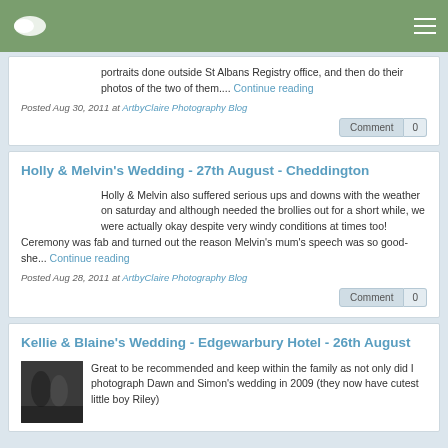Navigation bar with logo and hamburger menu
portraits done outside St Albans Registry office, and then do their photos of the two of them.... Continue reading
Posted Aug 30, 2011 at ArtbyClaire Photography Blog
Comment 0
Holly & Melvin's Wedding - 27th August - Cheddington
Holly & Melvin also suffered serious ups and downs with the weather on saturday and although needed the brollies out for a short while, we were actually okay despite very windy conditions at times too! Ceremony was fab and turned out the reason Melvin's mum's speech was so good- she... Continue reading
Posted Aug 28, 2011 at ArtbyClaire Photography Blog
Comment 0
Kellie & Blaine's Wedding - Edgewarbury Hotel - 26th August
[Figure (photo): Thumbnail photo of a wedding scene]
Great to be recommended and keep within the family as not only did I photograph Dawn and Simon's wedding in 2009 (they now have cutest little boy Riley)